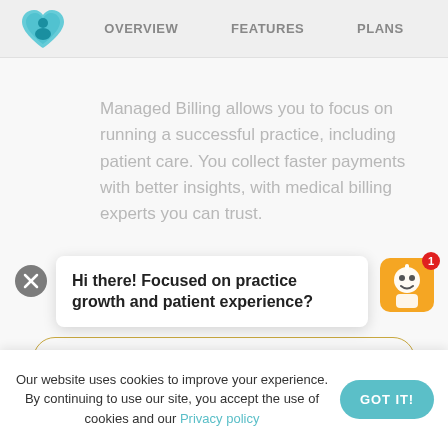[Figure (logo): Teal heart shape logo with person/family silhouette icon]
OVERVIEW   FEATURES   PLANS
Managed Billing allows you to focus on running a successful practice, including patient care. You collect faster payments with better insights, with medical billing experts you can trust.
[Figure (screenshot): Chat popup with close X button and robot mascot icon with badge '1'. Text: Hi there! Focused on practice growth and patient experience?]
LEARN MORE
Our website uses cookies to improve your experience. By continuing to use our site, you accept the use of cookies and our Privacy policy